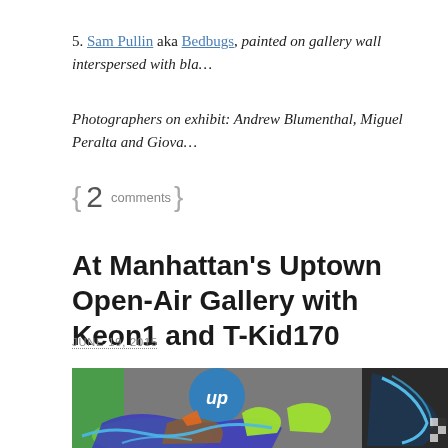5. Sam Pullin aka Bedbugs, painted on gallery wall interspersed with bla…
Photographers on exhibit: Andrew Blumenthal, Miguel Peralta and Giova…
{ 2 comments }
At Manhattan's Uptown Open-Air Gallery with Keon1 and T-Kid170
JUNE 19, 2015
[Figure (photo): Street art / graffiti mural on a wall showing colorful graffiti lettering in green, blue, brown and orange with a blue circle 'up' tag, and a dark figure with swirling blue elements on the right side.]